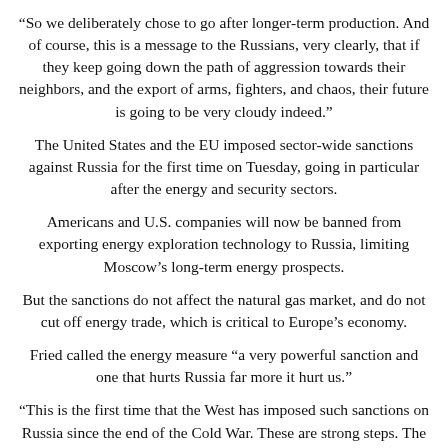“So we deliberately chose to go after longer-term production. And of course, this is a message to the Russians, very clearly, that if they keep going down the path of aggression towards their neighbors, and the export of arms, fighters, and chaos, their future is going to be very cloudy indeed.”
The United States and the EU imposed sector-wide sanctions against Russia for the first time on Tuesday, going in particular after the energy and security sectors.
Americans and U.S. companies will now be banned from exporting energy exploration technology to Russia, limiting Moscow’s long-term energy prospects.
But the sanctions do not affect the natural gas market, and do not cut off energy trade, which is critical to Europe’s economy.
Fried called the energy measure “a very powerful sanction and one that hurts Russia far more it hurt us.”
“This is the first time that the West has imposed such sanctions on Russia since the end of the Cold War. These are strong steps. The European Union deserves to be commended for its strong stand and its leadership in this area.”